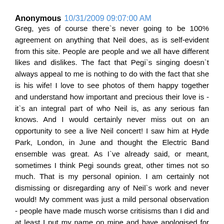Anonymous 10/31/2009 09:07:00 AM
Greg, yes of course there`s never going to be 100% agreement on anything that Neil does, as is self-evident from this site. People are people and we all have different likes and dislikes. The fact that Pegi`s singing doesn`t always appeal to me is nothing to do with the fact that she is his wife! I love to see photos of them happy together and understand how important and precious their love is - it`s an integral part of who Neil is, as any serious fan knows. And I would certainly never miss out on an opportunity to see a live Neil concert! I saw him at Hyde Park, London, in June and thought the Electric Band ensemble was great. As I`ve already said, or meant, sometimes I think Pegi sounds great, other times not so much. That is my personal opinion. I am certainly not dismissing or disregarding any of Neil`s work and never would! My comment was just a mild personal observation - people have made musch worse critisisms than I did and at least I put my name on mine and have apologised for complaining! Maybe I should add that I think Neil is